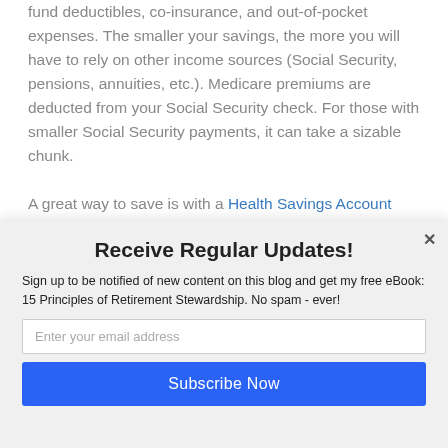fund deductibles, co-insurance, and out-of-pocket expenses. The smaller your savings, the more you will have to rely on other income sources (Social Security, pensions, annuities, etc.). Medicare premiums are deducted from your Social Security check. For those with smaller Social Security payments, it can take a sizable chunk.

A great way to save is with a Health Savings Account
Receive Regular Updates!
Sign up to be notified of new content on this blog and get my free eBook: 15 Principles of Retirement Stewardship. No spam - ever!